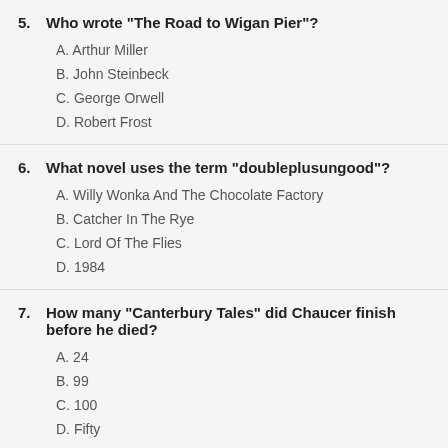5. Who wrote "The Road to Wigan Pier"?
A. Arthur Miller
B. John Steinbeck
C. George Orwell
D. Robert Frost
6. What novel uses the term "doubleplusungood"?
A. Willy Wonka And The Chocolate Factory
B. Catcher In The Rye
C. Lord Of The Flies
D. 1984
7. How many "Canterbury Tales" did Chaucer finish before he died?
A. 24
B. 99
C. 100
D. Fifty